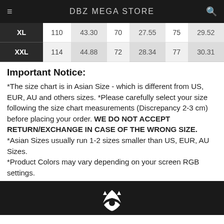DBZ MEGA STORE
| XL | 110 | 43.30 | 70 | 27.55 | 75 | 29.52 |
| XXL | 114 | 44.88 | 72 | 28.34 | 77 | 30.31 |
Important Notice:
*The size chart is in Asian Size - which is different from US, EUR, AU and others sizes. *Please carefully select your size following the size chart measurements (Discrepancy 2-3 cm) before placing your order. WE DO NOT ACCEPT RETURN/EXCHANGE IN CASE OF THE WRONG SIZE. *Asian Sizes usually run 1-2 sizes smaller than US, EUR, AU Sizes. *Product Colors may vary depending on your screen RGB settings.
[Figure (photo): Dark background with a white logo/emblem at the bottom of the page]